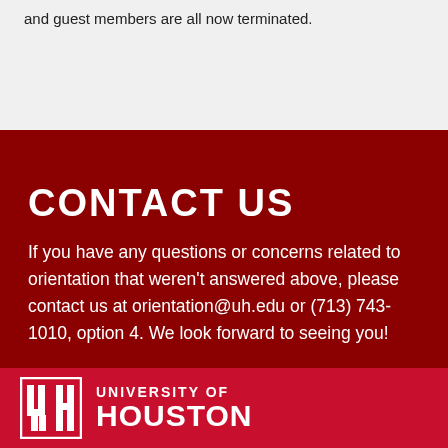and guest members are all now terminated.
CONTACT US
If you have any questions or concerns related to orientation that weren't answered above, please contact us at orientation@uh.edu or (713) 743-1010, option 4. We look forward to seeing you!
[Figure (logo): University of Houston logo with UH interlocking letters and text 'UNIVERSITY OF HOUSTON']